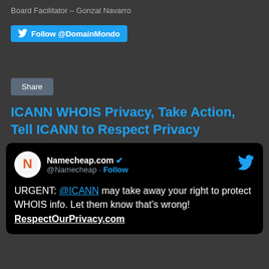Board Facilitator – Gonzal Navarro
[Figure (screenshot): Twitter Follow @DomainMondo button]
[Figure (screenshot): Share button]
ICANN WHOIS Privacy, Take Action, Tell ICANN to Respect Privacy
[Figure (screenshot): Embedded tweet from Namecheap.com (@Namecheap): URGENT: @ICANN may take away your right to protect WHOIS info. Let them know that's wrong! RespectOurPrivacy.com]